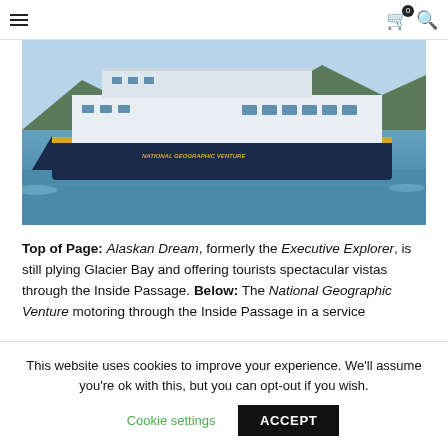Navigation bar with hamburger menu, cart icon (0), and search icon
[Figure (photo): The National Geographic Venture cruise ship motoring through the Inside Passage, a large white and dark navy vessel with yellow accent stripe on the hull, surrounded by blue water and forested hills in the background.]
Top of Page: Alaskan Dream, formerly the Executive Explorer, is still plying Glacier Bay and offering tourists spectacular vistas through the Inside Passage. Below: The National Geographic Venture motoring through the Inside Passage in a service
This website uses cookies to improve your experience. We'll assume you're ok with this, but you can opt-out if you wish.
Cookie settings | ACCEPT